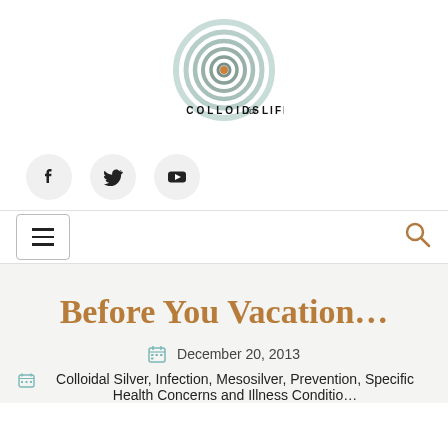[Figure (logo): Colloids for Life logo — concentric rings in light teal/green with a brown/orange center dot, above the text COLLOIDS for LIFE]
[Figure (infographic): Three social media icon buttons in light gray circles: Facebook, Twitter, YouTube]
[Figure (infographic): Navigation bar with hamburger menu button on left and search icon on right]
Before You Vacation…
December 20, 2013
Colloidal Silver, Infection, Mesosilver, Prevention, Specific Health Concerns and Illness Conditions